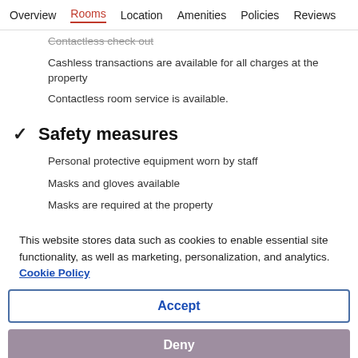Overview  Rooms  Location  Amenities  Policies  Reviews
Contactless check out
Cashless transactions are available for all charges at the property
Contactless room service is available.
Safety measures
Personal protective equipment worn by staff
Masks and gloves available
Masks are required at the property
This website stores data such as cookies to enable essential site functionality, as well as marketing, personalization, and analytics. Cookie Policy
Accept
Deny